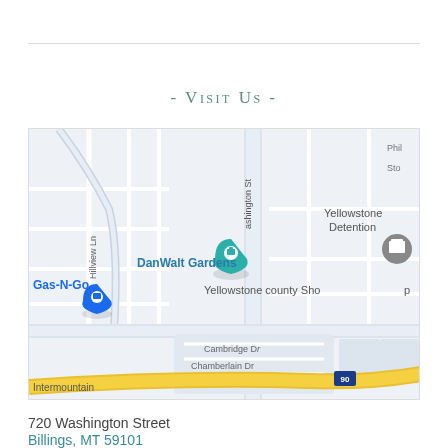- Visit Us -
[Figure (map): Google Maps screenshot showing DanWalt Gardens location at 720 Washington Street, Billings, MT. Nearby landmarks include Gas-N-Go, Yellowstone Detention, Yellowstone county Shop. Streets visible: Washington St, Hillview Ln, Cambridge Dr, Chamberlain Dr, Intermountain. Interstate 90 visible at bottom.]
720 Washington Street
Billings, MT 59101
406.248.4003